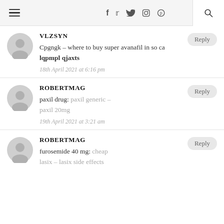Navigation bar with hamburger menu, social icons (f, twitter, instagram, pinterest), and search
VLZSYN
Cpgngk – where to buy super avanafil in so ca lqpmpl qjaxts
18th April 2021 at 6:16 pm
ROBERTMAG
paxil drug: paxil generic – paxil 20mg
19th April 2021 at 3:21 am
ROBERTMAG
furosemide 40 mg: cheap lasix – lasix side effects